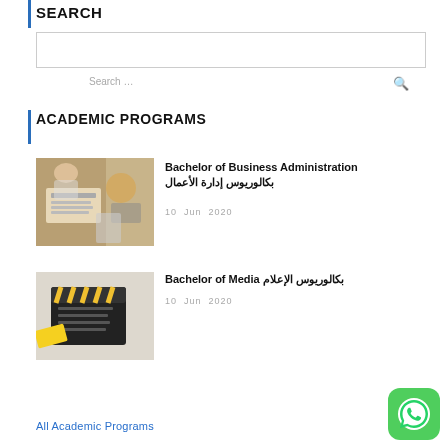SEARCH
[Figure (screenshot): Search input box with placeholder 'Search ...' and a search icon on the right]
ACADEMIC PROGRAMS
[Figure (photo): Photo of people working at a desk with financial documents and a calculator]
Bachelor of Business Administration بكالوريوس إدارة الأعمال
10  Jun  2020
[Figure (photo): Photo of a movie clapperboard with yellow tape, representing media studies]
Bachelor of Media بكالوريوس الإعلام
10  Jun  2020
All Academic Programs